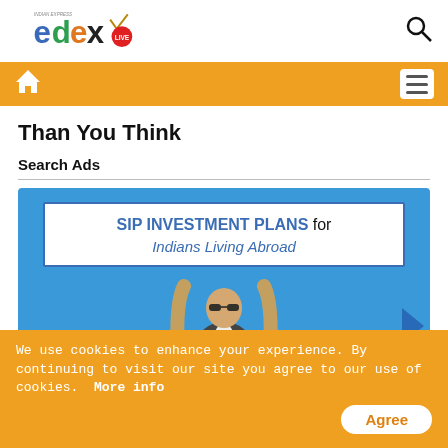[Figure (logo): edexLIVE logo from Indian Express — colorful letters e(blue) d(green) e(orange) x(dark) with a checkmark, LIVE in red badge, Indian Express text above]
Than You Think
Search Ads
[Figure (infographic): Advertisement banner for SIP INVESTMENT PLANS for Indians Living Abroad, blue background, man in sunglasses seated in chair]
We use cookies to enhance your experience. By continuing to visit our site you agree to our use of cookies.  More info